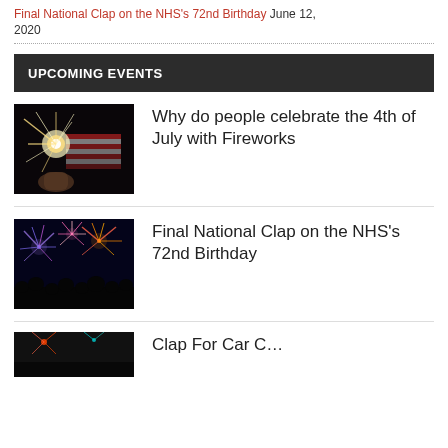Final National Clap on the NHS's 72nd Birthday June 12, 2020
UPCOMING EVENTS
[Figure (photo): Hand holding sparkler and American flag against dark background]
Why do people celebrate the 4th of July with Fireworks
[Figure (photo): Fireworks display over crowd silhouettes at night]
Final National Clap on the NHS's 72nd Birthday
[Figure (photo): Partial image at bottom of page, partially cut off]